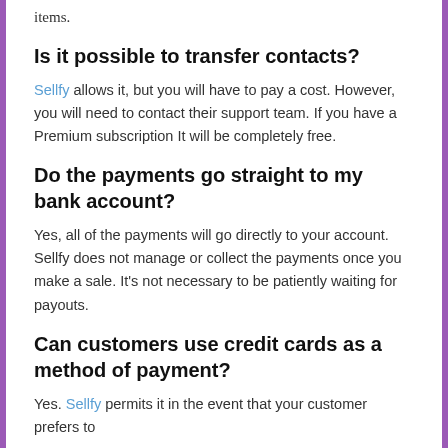items.
Is it possible to transfer contacts?
Sellfy allows it, but you will have to pay a cost. However, you will need to contact their support team. If you have a Premium subscription It will be completely free.
Do the payments go straight to my bank account?
Yes, all of the payments will go directly to your account. Sellfy does not manage or collect the payments once you make a sale. It's not necessary to be patiently waiting for payouts.
Can customers use credit cards as a method of payment?
Yes. Sellfy permits it in the event that your customer prefers to